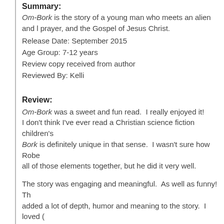Summary:
Om-Bork is the story of a young man who meets an alien and l... prayer, and the Gospel of Jesus Christ.
Release Date: September 2015
Age Group: 7-12 years
Review copy received from author
Reviewed By: Kelli
Review:
Om-Bork was a sweet and fun read.  I really enjoyed it! I don't think I've ever read a Christian science fiction children's... Bork is definitely unique in that sense.  I wasn't sure how Robe... all of those elements together, but he did it very well.
The story was engaging and meaningful.  As well as funny!  Th... added a lot of depth, humor and meaning to the story.  I loved ... facial expressions.
Being that I have a four year old and this book is recommended... children ages 5 and up would understand and enjoy Om-Bork.